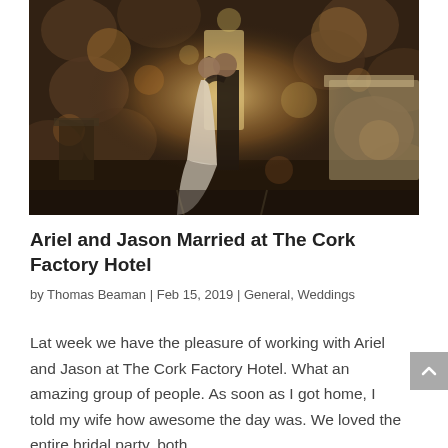[Figure (photo): Wedding photo of a bride and groom sharing a first dance or kiss in a dimly lit venue with large wine barrels visible in the background. Warm bokeh lighting effects surround the couple. The bride wears a white gown. A draped table is visible on the right side.]
Ariel and Jason Married at The Cork Factory Hotel
by Thomas Beaman | Feb 15, 2019 | General, Weddings
Lat week we have the pleasure of working with Ariel and Jason at The Cork Factory Hotel. What an amazing group of people. As soon as I got home, I told my wife how awesome the day was. We loved the entire bridal party, both